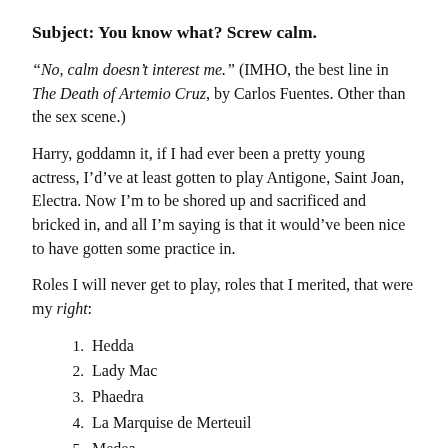Subject: You know what? Screw calm.
“No, calm doesn’t interest me.” (IMHO, the best line in The Death of Artemio Cruz, by Carlos Fuentes. Other than the sex scene.)
Harry, goddamn it, if I had ever been a pretty young actress, I’d’ve at least gotten to play Antigone, Saint Joan, Electra. Now I’m to be shored up and sacrificed and bricked in, and all I’m saying is that it would’ve been nice to have gotten some practice in.
Roles I will never get to play, roles that I merited, that were my right:
Hedda
Lady Mac
Phaedra
La Marquise de Merteuil
Medea